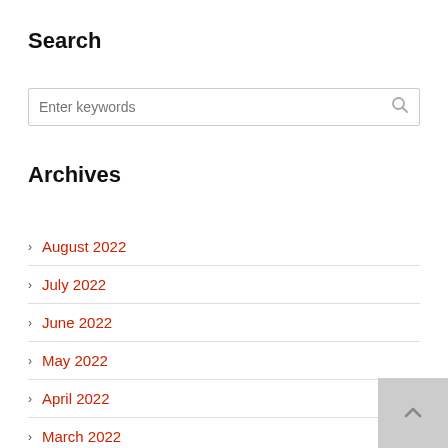Search
[Figure (other): Search input box with placeholder text 'Enter keywords' and a search icon on the right]
Archives
August 2022
July 2022
June 2022
May 2022
April 2022
March 2022